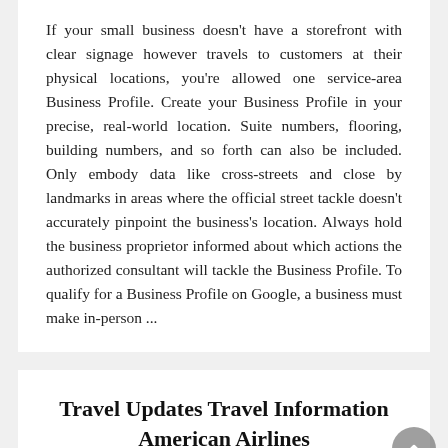If your small business doesn't have a storefront with clear signage however travels to customers at their physical locations, you're allowed one service-area Business Profile. Create your Business Profile in your precise, real-world location. Suite numbers, flooring, building numbers, and so forth can also be included. Only embody data like cross-streets and close by landmarks in areas where the official street tackle doesn't accurately pinpoint the business's location. Always hold the business proprietor informed about which actions the authorized consultant will tackle the Business Profile. To qualify for a Business Profile on Google, a business must make in-person ...
Travel Updates Travel Information American Airlines